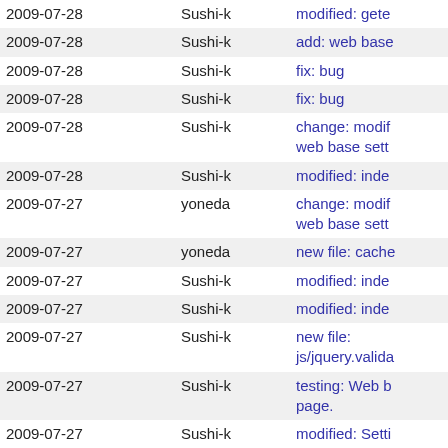| Date | User | Message |
| --- | --- | --- |
| 2009-07-28 | Sushi-k | modified: gete |
| 2009-07-28 | Sushi-k | add: web base |
| 2009-07-28 | Sushi-k | fix: bug |
| 2009-07-28 | Sushi-k | fix: bug |
| 2009-07-28 | Sushi-k | change: modif web base sett |
| 2009-07-28 | Sushi-k | modified: inde |
| 2009-07-27 | yoneda | change: modif web base sett |
| 2009-07-27 | yoneda | new file: cache |
| 2009-07-27 | Sushi-k | modified: inde |
| 2009-07-27 | Sushi-k | modified: inde |
| 2009-07-27 | Sushi-k | new file: js/jquery.valida |
| 2009-07-27 | Sushi-k | testing: Web b page. |
| 2009-07-27 | Sushi-k | modified: Setti |
| 2009-07-27 | Sushi-k | add: Settings c |
| 2009-07-26 | yoneda | modified: templates/reco |
| 2009-07-26 | yoneda | modified: med |
| 2009-07-26 | yoneda | add: editable t description |
| 2009-07-25 | yoneda | modified: changeReserv |
| 2009-07-25 | yoneda | add: editable t |